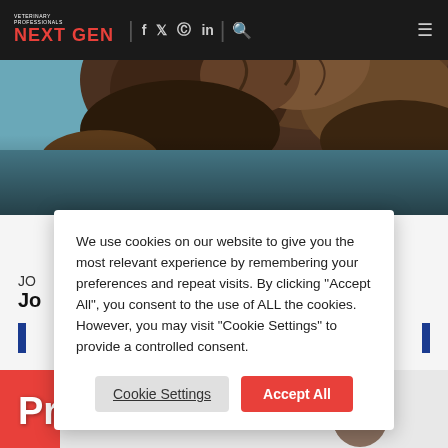VETERINARY PROFESSIONALS NEXT GEN — navigation header with social icons (Facebook, Twitter, Instagram, LinkedIn) and search
[Figure (photo): Close-up photograph of a cat or small animal with brown fur against a blue background, used as hero banner image]
Profile
We use cookies on our website to give you the most relevant experience by remembering your preferences and repeat visits. By clicking "Accept All", you consent to the use of ALL the cookies. However, you may visit "Cookie Settings" to provide a controlled consent.
Cookie Settings | Accept All